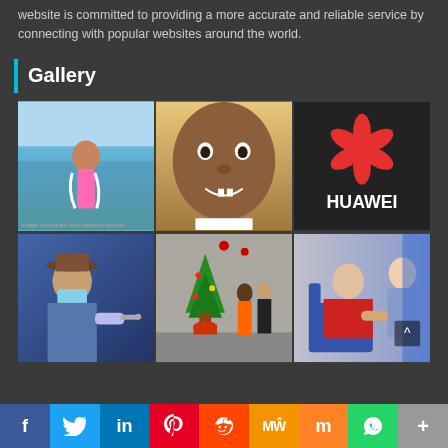website is committed to providing a more accurate and reliable service by connecting with popular websites around the world.
Gallery
[Figure (photo): Woman in pink bikini standing in water at beach]
[Figure (photo): Young boy smiling with gap teeth, close-up portrait]
[Figure (photo): Huawei logo on building facade]
[Figure (photo): Person in hat and mask receiving vaccination injection]
[Figure (photo): Street scene with Christmas tree and people walking]
[Figure (photo): Elderly woman receiving vaccination seated in blue chair]
f  Twitter  in  Pinterest  Reddit  MW  Mix  WhatsApp  +